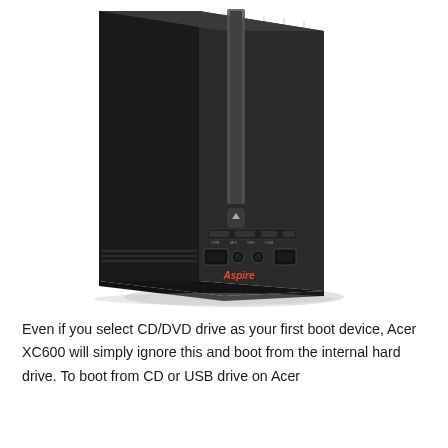[Figure (photo): Photo of an Acer Aspire XC600 slim desktop tower PC (black), shown from a front-left angle, displaying the front panel with disc drive slot, USB port, audio jacks, card reader, and the Aspire logo at the bottom.]
Even if you select CD/DVD drive as your first boot device, Acer XC600 will simply ignore this and boot from the internal hard drive. To boot from CD or USB drive on Acer